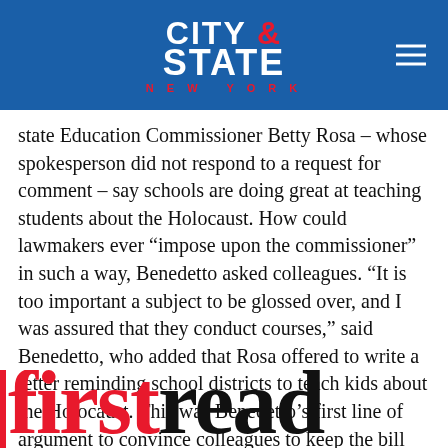CITY & STATE NEW YORK
state Education Commissioner Betty Rosa – whose spokesperson did not respond to a request for comment – say schools are doing great at teaching students about the Holocaust. How could lawmakers ever “impose upon the commissioner” in such a way, Benedetto asked colleagues. “It is too important a subject to be glossed over, and I was assured that they conduct courses,” said Benedetto, who added that Rosa offered to write a letter reminding school districts to teach kids about the Holocaust. This was Benedetto’s first line of argument to convince colleagues to keep the bill from moving forward in the legislative process.
| firstread